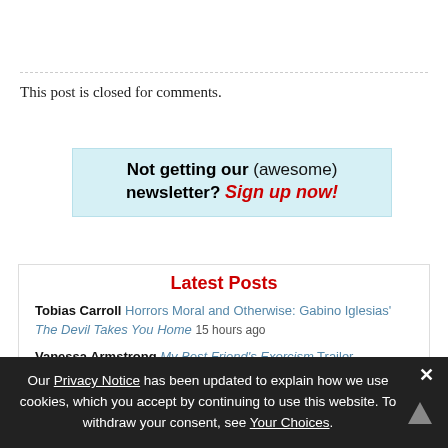This post is closed for comments.
[Figure (infographic): Light blue newsletter signup banner reading 'Not getting our (awesome) newsletter? Sign up now!']
Latest Posts
Tobias Carroll Horrors Moral and Otherwise: Gabino Iglesias' The Devil Takes You Home 15 hours ago
Vanessa Armstrong My Best Friend's Exorcism Trailer [partially visible]
Our Privacy Notice has been updated to explain how we use cookies, which you accept by continuing to use this website. To withdraw your consent, see Your Choices.